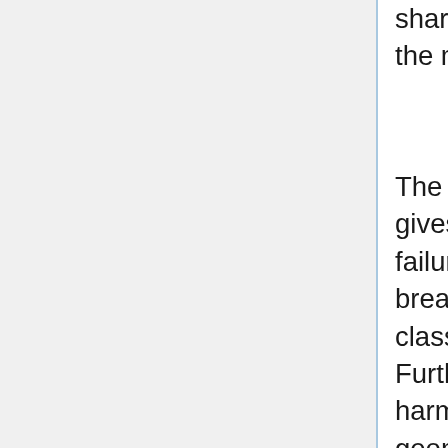sharp edge of the boundary, an abrupt change of the medium, a defect of the construction).
The analysis of general non-smooth elliptic PDEs gives rise to decisively new challenges: possible failure of maximal principle and positivity, breakdown of boundary regularity, lack of the classical L^2 estimates, to mention just a few. Further progress builds on an involved blend of harmonic analysis, potential theory and geometric measure theory techniques. In this talk we are going to discuss some highlights of the history, conjectures, paradoxes, and recent discoveries such as the higher-order Wiener criterion and maximum principle for higher order PDEs, solvability of rough elliptic boundary problems, as well as an intriguing phenomenon of